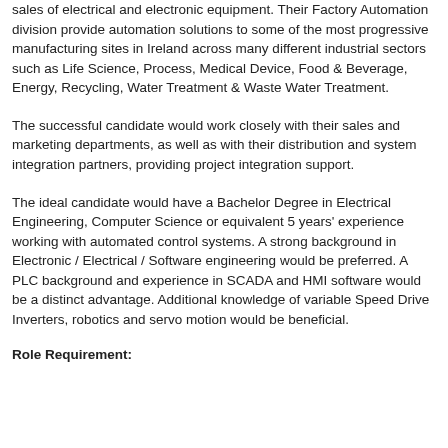sales of electrical and electronic equipment. Their Factory Automation division provide automation solutions to some of the most progressive manufacturing sites in Ireland across many different industrial sectors such as Life Science, Process, Medical Device, Food & Beverage, Energy, Recycling, Water Treatment & Waste Water Treatment.
The successful candidate would work closely with their sales and marketing departments, as well as with their distribution and system integration partners, providing project integration support.
The ideal candidate would have a Bachelor Degree in Electrical Engineering, Computer Science or equivalent 5 years' experience working with automated control systems. A strong background in Electronic / Electrical / Software engineering would be preferred. A PLC background and experience in SCADA and HMI software would be a distinct advantage. Additional knowledge of variable Speed Drive Inverters, robotics and servo motion would be beneficial.
Role Requirement: